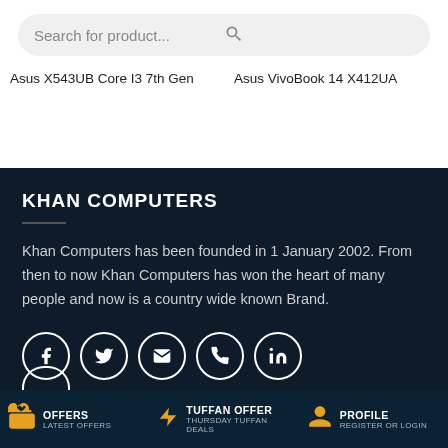Search for product...
Asus X543UB Core I3 7th Gen
Asus VivoBook 14 X412UA
KHAN COMPUTERS
Khan Computers has been founded in 1 January 2002. From then to now Khan Computers has won the heart of many people and now is a country wide known Brand.
[Figure (infographic): Social media icons in circles: Facebook, Twitter, Email, Phone, LinkedIn]
OFFERS LATEST OFFERS | TUFFAN OFFER THURSDAY TUFFAN DEALS | PROFILE REGISTER OR LOGIN